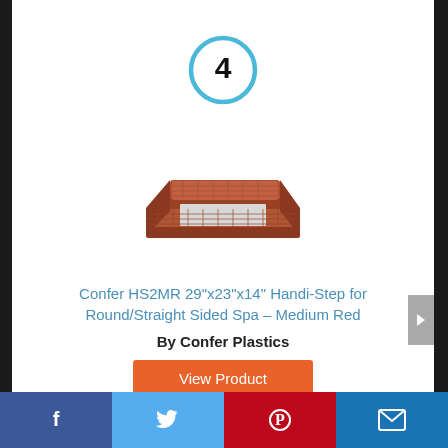[Figure (other): Number 4 inside a blue circle, used as a list item indicator]
[Figure (photo): Red/brown two-step Confer Handi-Step spa step stool product photo on white background]
Confer HS2MR 29"x23"x14" Handi-Step for Round/Straight Sided Spa – Medium Red
By Confer Plastics
View Product
Facebook | Twitter | Pinterest | Email